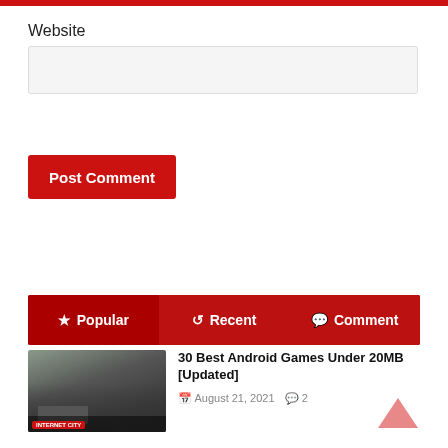Website
(input field for website URL)
Post Comment
Popular | Recent | Comment
30 Best Android Games Under 20MB [Updated]
August 21, 2021 · 2 comments
[Figure (screenshot): Thumbnail image showing a road scene with a vehicle in stormy weather conditions, with a red label overlay at the bottom left]